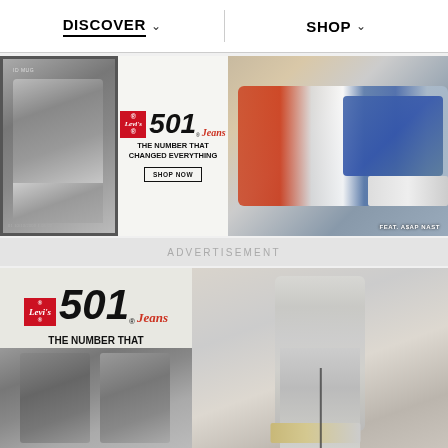DISCOVER ∨     SHOP ∨
[Figure (photo): Levi's 501 Jeans advertisement banner. Left side: black and white portrait photo of a man. Center/right: Levi's 501 Jeans logo with tagline 'THE NUMBER THAT CHANGED EVERYTHING' and SHOP NOW button. Far right: color photo of A$AP Nast lying down wearing jeans labeled 'FEAT. A$AP NAST']
ADVERTISEMENT
[Figure (photo): Second Levi's 501 Jeans advertisement. Left: Levi's 501 Jeans logo with tagline 'THE NUMBER THAT CHANGED EVERYTHING' and SHOP NOW button. Right: color photo of a man standing in all-denim light-wash outfit. Bottom left: black and white photo of a person's legs in jeans.]